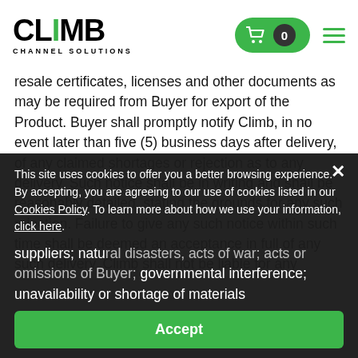CLIMB CHANNEL SOLUTIONS
resale certificates, licenses and other documents as may be required from Buyer for export of the Product. Buyer shall promptly notify Climb, in no event later than five (5) business days after delivery, of any claimed shortages or rejection as to any delivery. Such notice shall be in writing and shall be reasonably detailed, stating the grounds for any such rejection. Failure to give any such notice within such time shall be deemed an acceptance in full of any such delivery. Climb shall not be liable for any
This site uses cookies to offer you a better browsing experience. By accepting, you are agreeing to our use of cookies listed in our Cookies Policy. To learn more about how we use your information, click here.
suppliers; natural disasters, acts of war; acts or omissions of Buyer; governmental interference; unavailability or shortage of materials